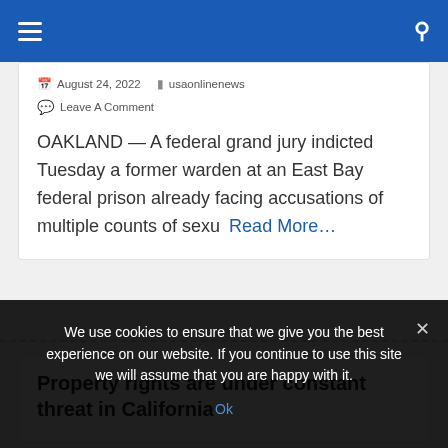Navigation bar with hamburger menu and search icon
August 24, 2022   usaonlinenews
Leave A Comment
OAKLAND — A federal grand jury indicted Tuesday a former warden at an East Bay federal prison already facing accusations of multiple counts of sexu   Read More…
Property rights are under constant threat in California
We use cookies to ensure that we give you the best experience on our website. If you continue to use this site we will assume that you are happy with it.
Ok